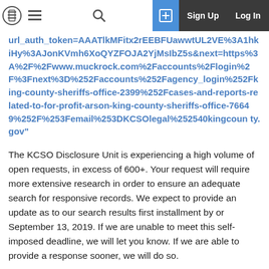Sign Up | Log In
url_auth_token=AAATlkMFitx2rEEBFUawwtUL2VE%3A1hkiHy%3AJonKVmh6XoQYZFOJA2YjMsIbZ5s&next=https%3A%2F%2Fwww.muckrock.com%2Faccounts%2Flogin%2F%3Fnext%3D%252Faccounts%252Fagency_login%252Fking-county-sheriffs-office-2399%252Fcases-and-reports-related-to-for-profit-arson-king-county-sheriffs-office-76649%252F%253Femail%253DKCSOlegal%252540kingcounty.gov"
The KCSO Disclosure Unit is experiencing a high volume of open requests, in excess of 600+. Your request will require more extensive research in order to ensure an adequate search for responsive records. We expect to provide an update as to our search results first installment by or September 13, 2019. If we are unable to meet this self-imposed deadline, we will let you know. If we are able to provide a response sooner, we will do so.